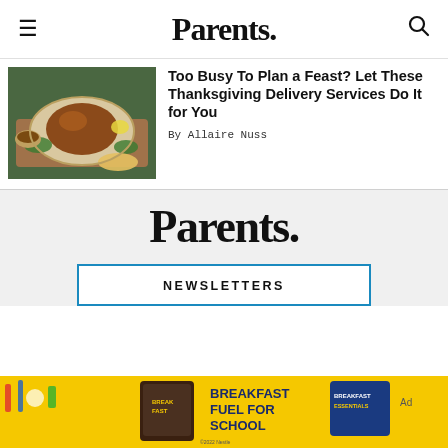Parents.
Too Busy To Plan a Feast? Let These Thanksgiving Delivery Services Do It for You
By Allaire Nuss
[Figure (photo): A roasted turkey on a platter with garnishes and side dishes on a wooden table with a green tablecloth]
Parents.
NEWSLETTERS
[Figure (photo): Advertisement banner with yellow background showing breakfast-related products including Breakfast Essentials, with text: BREAKFAST FUEL FOR SCHOOL. Copyright 2022 Nestle.]